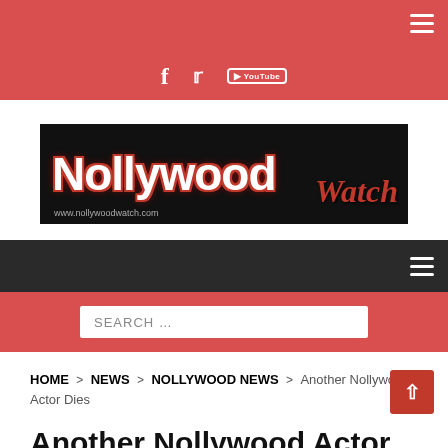Nollywood Watch - www.nollywoodwatch.com
[Figure (logo): Nollywood Watch logo on black background with red outline text, www.nollywoodwatch.com]
HOME > NEWS > NOLLYWOOD NEWS > Another Nollywood Actor Dies
Another Nollywood Actor Dies